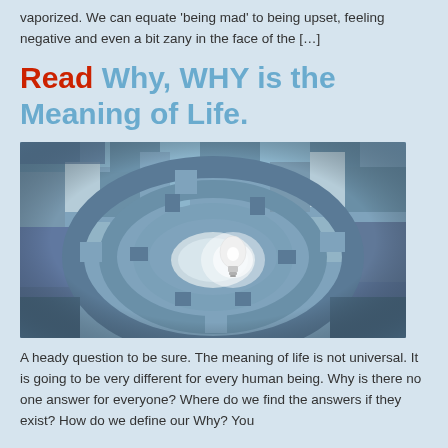vaporized. We can equate 'being mad' to being upset, feeling negative and even a bit zany in the face of the […]
Read Why, WHY is the Meaning of Life.
[Figure (photo): A circular maze viewed from above with a glowing light bulb illuminated at the center, surrounded by concentric stone maze walls in blue-grey tones.]
A heady question to be sure. The meaning of life is not universal. It is going to be very different for every human being. Why is there no one answer for everyone? Where do we find the answers if they exist? How do we define our Why? You